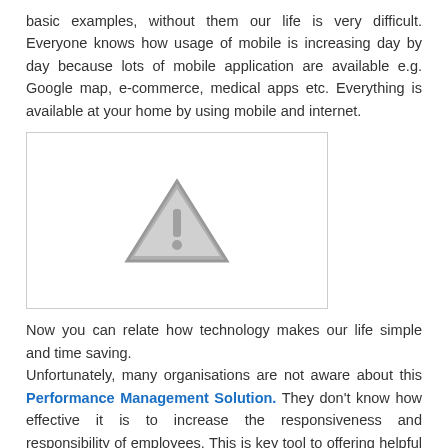basic examples, without them our life is very difficult. Everyone knows how usage of mobile is increasing day by day because lots of mobile application are available e.g. Google map, e-commerce, medical apps etc. Everything is available at your home by using mobile and internet.
[Figure (illustration): Placeholder image box with a grey warning/image-missing triangle icon with exclamation mark]
Now you can relate how technology makes our life simple and time saving. Unfortunately, many organisations are not aware about this Performance Management Solution. They don't know how effective it is to increase the responsiveness and responsibility of employees. This is key tool to offering helpful Feedback to Manager and HR. HR can't handle goals